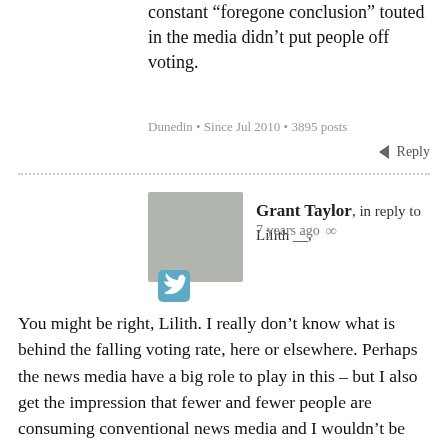constant “foregone conclusion” touted in the media didn’t put people off voting.
Dunedin • Since Jul 2010 • 3895 posts
Reply
Grant Taylor, in reply to Lilith __, 7 years ago ∞
[Figure (illustration): Grey avatar/speech bubble icon with Twitter bird icon below]
You might be right, Lilith. I really don’t know what is behind the falling voting rate, here or elsewhere. Perhaps the news media have a big role to play in this – but I also get the impression that fewer and fewer people are consuming conventional news media and I wouldn’t be surprised if the people who don’t vote are also the people who don’t pay attention to political journalism. The shallowness of analysis, and perhaps bias, that we are bemoaning here is perhaps a response to this loss of audience. Even if we had the Guardian or the New York Times in NZ, I doubt that the level of political engagement or dissatisfaction with the current government would be any higher.